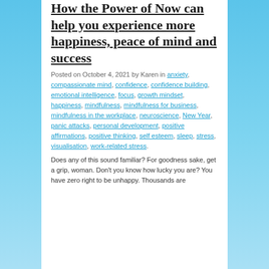How the Power of Now can help you experience more happiness, peace of mind and success
Posted on October 4, 2021 by Karen in anxiety, compassionate mind, confidence, confidence building, emotional intelligence, focus, growth mindset, happiness, mindfulness, mindfulness for business, mindfulness in the workplace, neuroscience, New Year, panic attacks, personal development, positive affirmations, positive thinking, self esteem, sleep, stress, visualisation, work-related stress.
Does any of this sound familiar? For goodness sake, get a grip, woman. Don't you know how lucky you are? You have zero right to be unhappy. Thousands are